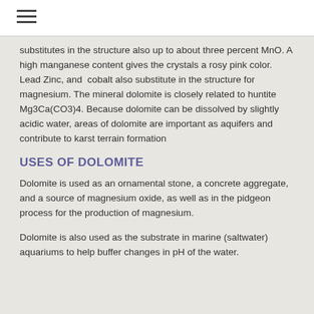substitutes in the structure also up to about three percent MnO. A high manganese content gives the crystals a rosy pink color. Lead Zinc, and cobalt also substitute in the structure for magnesium. The mineral dolomite is closely related to huntite Mg3Ca(CO3)4. Because dolomite can be dissolved by slightly acidic water, areas of dolomite are important as aquifers and contribute to karst terrain formation
USES OF DOLOMITE
Dolomite is used as an ornamental stone, a concrete aggregate, and a source of magnesium oxide, as well as in the pidgeon process for the production of magnesium.
Dolomite is also used as the substrate in marine (saltwater) aquariums to help buffer changes in pH of the water.